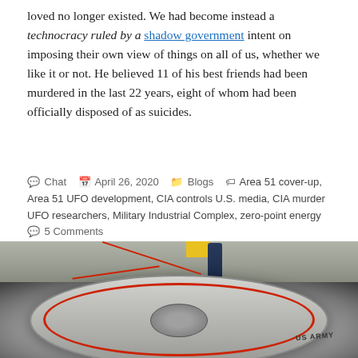loved no longer existed. We had become instead a technocracy ruled by a shadow government intent on imposing their own view of things on all of us, whether we like it or not. He believed 11 of his best friends had been murdered in the last 22 years, eight of whom had been officially disposed of as suicides.
Chat  April 26, 2020  Blogs  Area 51 cover-up, Area 51 UFO development, CIA controls U.S. media, CIA murder UFO researchers, Military Industrial Complex, zero-point energy  5 Comments
[Figure (photo): Aerial photograph of a circular disc-shaped craft (saucer) on the ground with a person standing on top. The disc has a red ring outline and a central hub. Red cables are attached. The text 'US ARMY' is visible on the side.]